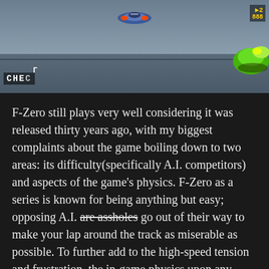[Figure (screenshot): A screenshot from the F-Zero video game showing a racing scene. The HUD displays 'CHEC' text on the lower left and score/energy indicators on the upper right. A car is visible in the center-top area, and a green/yellow vehicle is visible on the right side. The background is a grey track scene.]
F-Zero still plays very well considering it was released thirty years ago, with my biggest complaints about the game boiling down to two areas: its difficulty(specifically A.I. competitors) and aspects of the game's physics. F-Zero as a series is known for being anything but easy; opposing A.I. are assholes go out of their way to make your lap around the track as miserable as possible. To further add to the high-speed tension and frustration, the in-game physics upon any contact with an opponent or on-track obstacles and hazards will cause an exaggerated collision very much resembling the infamous knock-back